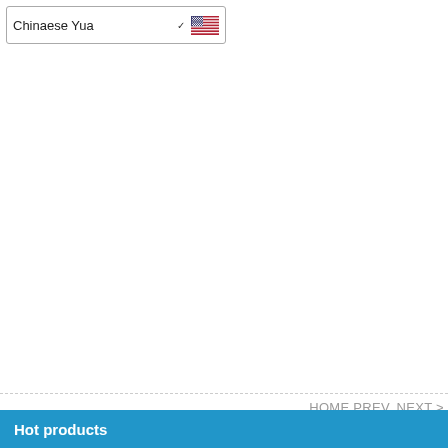[Figure (screenshot): A currency selector UI element showing a dropdown with 'Chinaese Yuan' text and a US flag icon, inside a bordered box]
HOME PREV. NEXT
Hot products